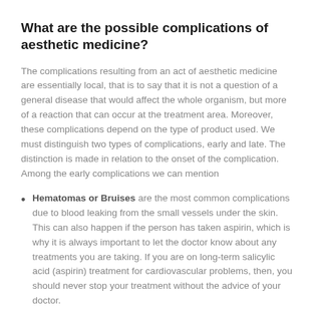What are the possible complications of aesthetic medicine?
The complications resulting from an act of aesthetic medicine are essentially local, that is to say that it is not a question of a general disease that would affect the whole organism, but more of a reaction that can occur at the treatment area. Moreover, these complications depend on the type of product used. We must distinguish two types of complications, early and late. The distinction is made in relation to the onset of the complication. Among the early complications we can mention
Hematomas or Bruises are the most common complications due to blood leaking from the small vessels under the skin. This can also happen if the person has taken aspirin, which is why it is always important to let the doctor know about any treatments you are taking. If you are on long-term salicylic acid (aspirin) treatment for cardiovascular problems, then, you should never stop your treatment without the advice of your doctor.